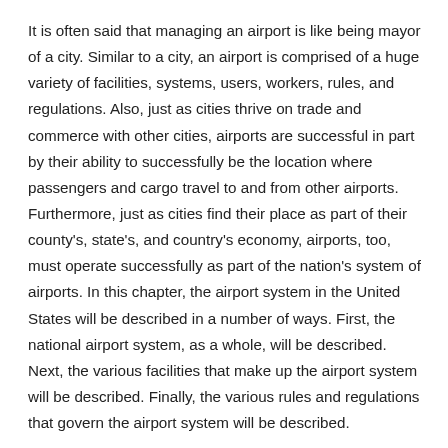It is often said that managing an airport is like being mayor of a city. Similar to a city, an airport is comprised of a huge variety of facilities, systems, users, workers, rules, and regulations. Also, just as cities thrive on trade and commerce with other cities, airports are successful in part by their ability to successfully be the location where passengers and cargo travel to and from other airports. Furthermore, just as cities find their place as part of their county's, state's, and country's economy, airports, too, must operate successfully as part of the nation's system of airports. In this chapter, the airport system in the United States will be described in a number of ways. First, the national airport system, as a whole, will be described. Next, the various facilities that make up the airport system will be described. Finally, the various rules and regulations that govern the airport system will be described.